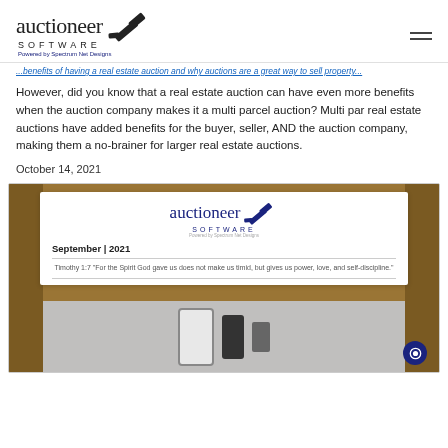auctioneer SOFTWARE Powered by Spectrum Net Designs
However, did you know that a real estate auction can have even more benefits when the auction company makes it a multi parcel auction? Multi par real estate auctions have added benefits for the buyer, seller, AND the auction company, making them a no-brainer for larger real estate auctions.
October 14, 2021
[Figure (screenshot): Screenshot of Auctioneer Software newsletter for September 2021, showing the logo, a Bible verse from Timothy 1:7, and a phone/device image below on a wood-textured background.]